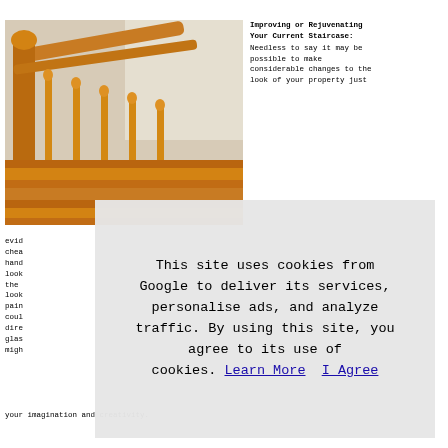[Figure (photo): Close-up photo of a wooden staircase banister and spindles, warm oak/golden finish, blurred background showing white wall.]
Improving or Rejuvenating Your Current Staircase:
Needless to say it may be possible to make considerable changes to the look of your property just
evid
chea
hand
look
the
look
pain
coul
dire
glas
migh
This site uses cookies from Google to deliver its services, personalise ads, and analyze traffic. By using this site, you agree to its use of cookies. Learn More   I Agree
your imagination and creativity.